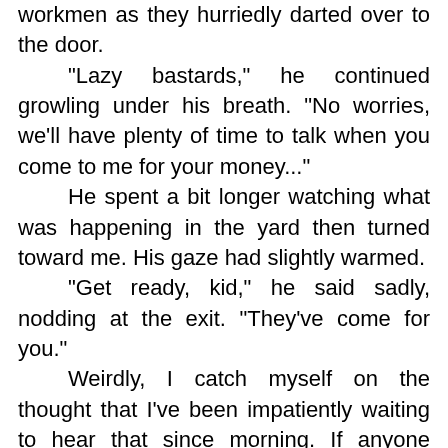workmen as they hurriedly darted over to the door. "Lazy bastards," he continued growling under his breath. "No worries, we'll have plenty of time to talk when you come to me for your money..." He spent a bit longer watching what was happening in the yard then turned toward me. His gaze had slightly warmed. "Get ready, kid," he said sadly, nodding at the exit. "They've come for you." Weirdly, I catch myself on the thought that I've been impatiently waiting to hear that since morning. If anyone could know what I'm thinking right now, they'd say I lost my mind. Ugh... At a certain level they'd be close to the truth. Two days ago my world, never the most wonderful to begin with, about what a cripple could expect, just ceased to exist. Watching distantly as